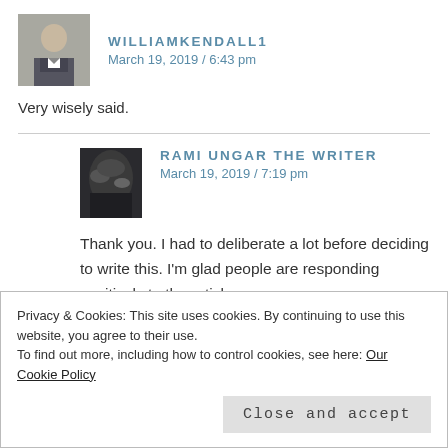[Figure (photo): Profile avatar of williamkendall1, a man in a suit]
WILLIAMKENDALL1
March 19, 2019 / 6:43 pm
Very wisely said.
[Figure (photo): Profile avatar of Rami Ungar The Writer, a close-up dark abstract image]
RAMI UNGAR THE WRITER
March 19, 2019 / 7:19 pm
Thank you. I had to deliberate a lot before deciding to write this. I'm glad people are responding positively to the article.
Privacy & Cookies: This site uses cookies. By continuing to use this website, you agree to their use.
To find out more, including how to control cookies, see here: Our Cookie Policy
Close and accept